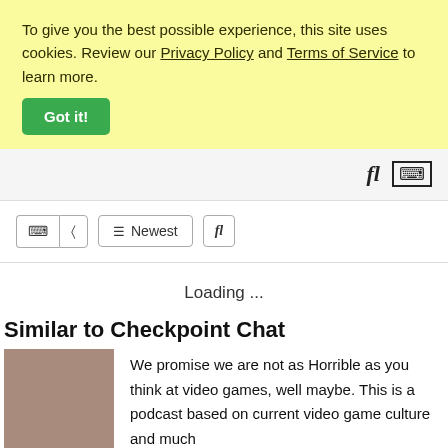To give you the best possible experience, this site uses cookies. Review our Privacy Policy and Terms of Service to learn more.
Got it!
Loading ...
Similar to Checkpoint Chat
We promise we are not as Horrible as you think at video games, well maybe. This is a podcast based on current video game culture and much